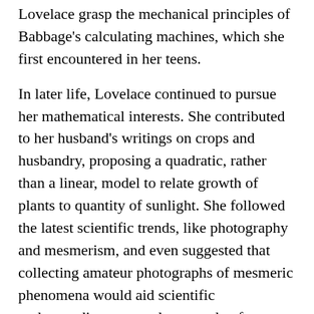Lovelace grasp the mechanical principles of Babbage's calculating machines, which she first encountered in her teens.
In later life, Lovelace continued to pursue her mathematical interests. She contributed to her husband's writings on crops and husbandry, proposing a quadratic, rather than a linear, model to relate growth of plants to quantity of sunlight. She followed the latest scientific trends, like photography and mesmerism, and even suggested that collecting amateur photographs of mesmeric phenomena would aid scientific understanding – an early example of crowdsourcing. She wanted to understand the workings of the mind and wrote about whether there might be mathematical laws underlying the operations of the brain, a “calculus of the nervous system”.